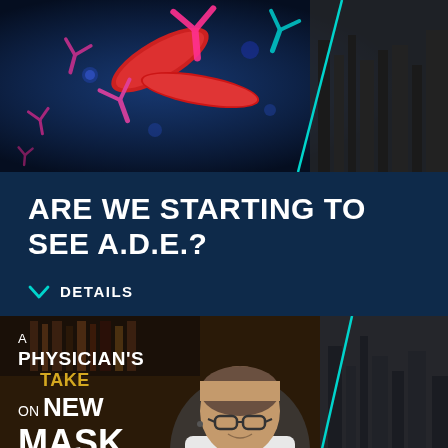[Figure (photo): Scientific illustration of antibodies (Y-shaped pink/red structures) and virus particles (blue) on a dark blue background, with a city skyline in the upper right, split by a diagonal teal line]
ARE WE STARTING TO SEE A.D.E.?
DETAILS
[Figure (photo): A physician in a white coat sitting in an office with bookshelves, overlaid with text 'A PHYSICIAN'S TAKE ON NEW MASK MANDATES' in white and gold. Right side shows a city skyline split by a diagonal teal line.]